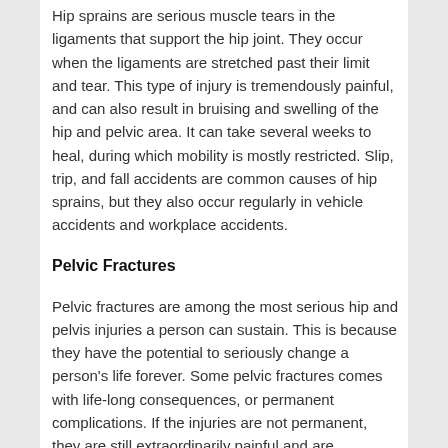Hip sprains are serious muscle tears in the ligaments that support the hip joint. They occur when the ligaments are stretched past their limit and tear. This type of injury is tremendously painful, and can also result in bruising and swelling of the hip and pelvic area. It can take several weeks to heal, during which mobility is mostly restricted. Slip, trip, and fall accidents are common causes of hip sprains, but they also occur regularly in vehicle accidents and workplace accidents.
Pelvic Fractures
Pelvic fractures are among the most serious hip and pelvis injuries a person can sustain. This is because they have the potential to seriously change a person's life forever. Some pelvic fractures comes with life-long consequences, or permanent complications. If the injuries are not permanent, they are still extraordinarily painful and are accompanied with months, or even years, of rehabilitation and healing. Painful physical therapy, loss of mobility, long-term medical care, and more are just a few circumstances a patient will face